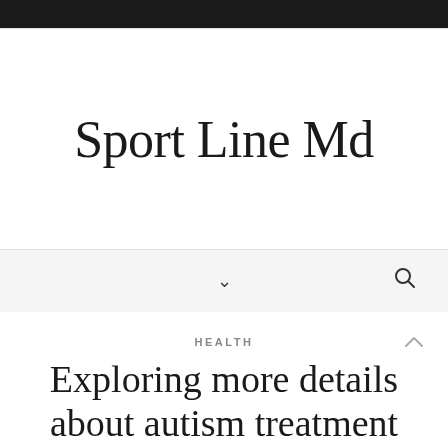Sport Line Md
Sport Line Md
HEALTH
Exploring more details about autism treatment